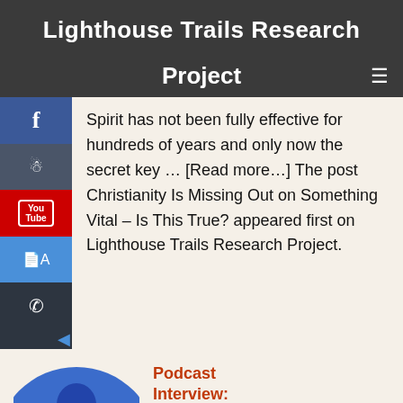Lighthouse Trails Research
Project
Spirit has not been fully effective for hundreds of years and only now the secret key … [Read more…] The post Christianity Is Missing Out on Something Vital – Is This True? appeared first on Lighthouse Trails Research Project.
Podcast Interview: